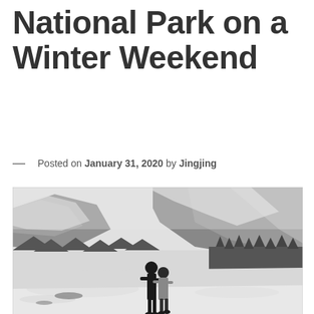National Park on a Winter Weekend
— Posted on January 31, 2020 by Jingjing
[Figure (photo): Black and white photo of two people standing together on a snow-covered landscape, viewed from behind, with a dramatic snow-covered mountain cliff in the background and snow-dusted evergreen trees on the right side.]